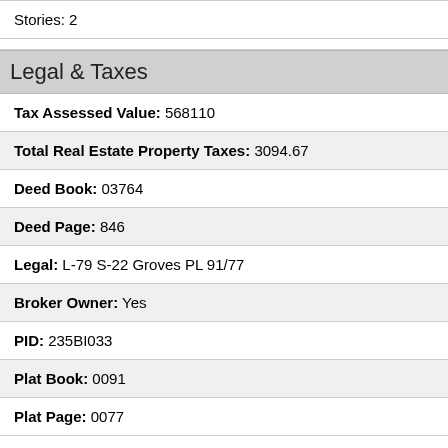Stories: 2
Legal & Taxes
Tax Assessed Value: 568110
Total Real Estate Property Taxes: 3094.67
Deed Book: 03764
Deed Page: 846
Legal: L-79 S-22 Groves PL 91/77
Broker Owner: Yes
PID: 235BI033
Plat Book: 0091
Plat Page: 0077